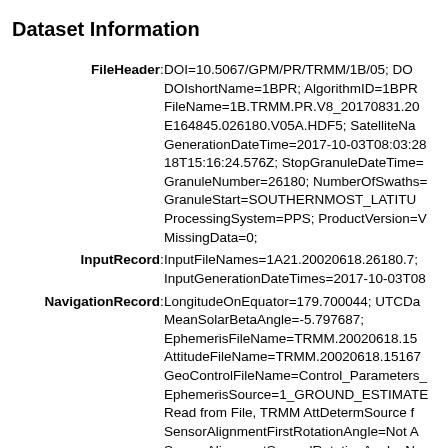Dataset Information
FileHeader: DOI=10.5067/GPM/PR/TRMM/1B/05; DOIshortName=1BPR; AlgorithmID=1BPR; FileName=1B.TRMM.PR.V8_20170831.20020618.E164845.026180.V05A.HDF5; SatelliteName=; GenerationDateTime=2017-10-03T08:03:28; 18T15:16:24.576Z; StopGranuleDateTime=; GranuleNumber=26180; NumberOfSwaths=; GranuleStart=SOUTHERNMOST_LATITUDE; ProcessingSystem=PPS; ProductVersion=V; MissingData=0;
InputRecord: InputFileNames=1A21.20020618.26180.7; InputGenerationDateTimes=2017-10-03T08
NavigationRecord: LongitudeOnEquator=179.700044; UTCDateTimeOnEquator=; MeanSolarBetaAngle=-5.797687; EphemerisFileName=TRMM.20020618.15; AttitudeFileName=TRMM.20020618.1516; GeoControlFileName=Control_Parameters_; EphemerisSource=1_GROUND_ESTIMATE Read from File, TRMM AttDetermSource f; SensorAlignmentFirstRotationAngle=Not A; SensorAlignmentSecondRotationAngle=No; SensorAlignmentThirdRotationAngle=Not